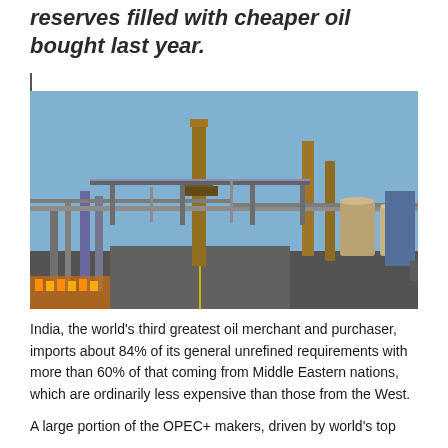reserves filled with cheaper oil bought last year.
[Figure (photo): Industrial oil refinery with tall chimneys, pipelines, and processing structures under a blue sky.]
India, the world's third greatest oil merchant and purchaser, imports about 84% of its general unrefined requirements with more than 60% of that coming from Middle Eastern nations, which are ordinarily less expensive than those from the West.
A large portion of the OPEC+ makers, driven by world's top